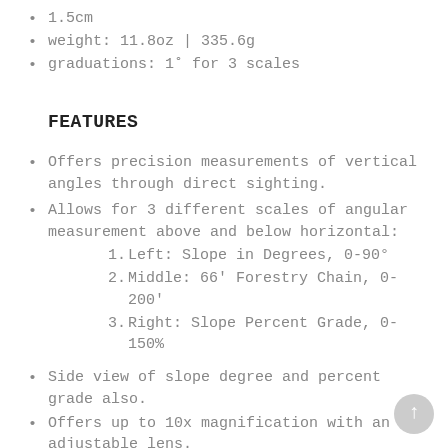1.5cm
weight: 11.8oz | 335.6g
graduations: 1˚ for 3 scales
FEATURES
Offers precision measurements of vertical angles through direct sighting.
Allows for 3 different scales of angular measurement above and below horizontal:
1. Left: Slope in Degrees, 0-90°
2. Middle: 66' Forestry Chain, 0-200'
3. Right: Slope Percent Grade, 0-150%
Side view of slope degree and percent grade also.
Offers up to 10x magnification with an adjustable lens.
Designed with durability in mind, with an